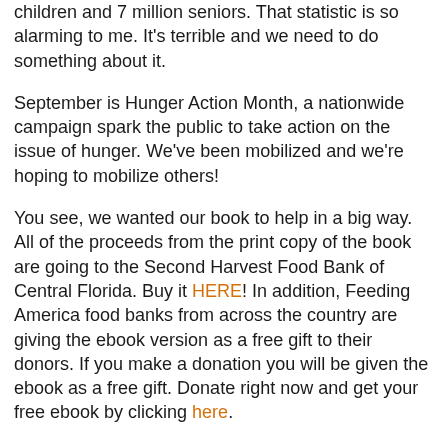children and 7 million seniors. That statistic is so alarming to me. It's terrible and we need to do something about it.
September is Hunger Action Month, a nationwide campaign spark the public to take action on the issue of hunger. We've been mobilized and we're hoping to mobilize others!
You see, we wanted our book to help in a big way. All of the proceeds from the print copy of the book are going to the Second Harvest Food Bank of Central Florida. Buy it HERE! In addition, Feeding America food banks from across the country are giving the ebook version as a free gift to their donors. If you make a donation you will be given the ebook as a free gift. Donate right now and get your free ebook by clicking here.